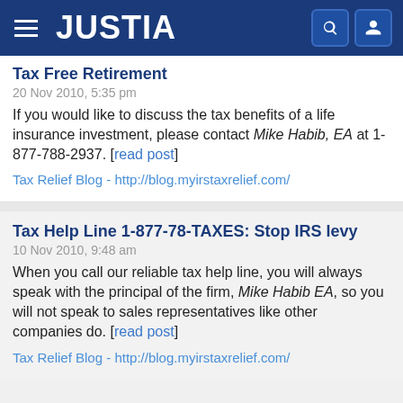JUSTIA
Tax Free Retirement
20 Nov 2010, 5:35 pm
If you would like to discuss the tax benefits of a life insurance investment, please contact Mike Habib, EA at 1-877-788-2937. [read post]
Tax Relief Blog - http://blog.myirstaxrelief.com/
Tax Help Line 1-877-78-TAXES: Stop IRS levy
10 Nov 2010, 9:48 am
When you call our reliable tax help line, you will always speak with the principal of the firm, Mike Habib EA, so you will not speak to sales representatives like other companies do. [read post]
Tax Relief Blog - http://blog.myirstaxrelief.com/